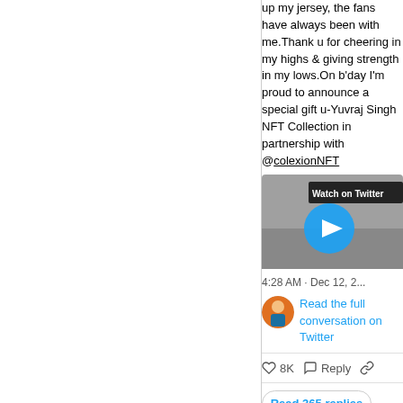up my jersey, the fans have always been with me.Thank u for cheering in my highs & giving strength in my lows.On b'day I'm proud to announce a special gift u-Yuvraj Singh NFT Collection in partnership with @colexionNFT
[Figure (screenshot): Twitter video thumbnail with 'Watch on Twitter' label and blue play button]
4:28 AM · Dec 12, 2...
Read the full conversation on Twitter
8K  Reply
Read 365 replies